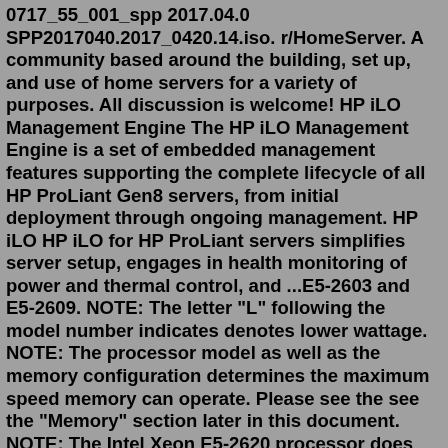0717_55_001_spp 2017.04.0 SPP2017040.2017_0420.14.iso. r/HomeServer. A community based around the building, set up, and use of home servers for a variety of purposes. All discussion is welcome! HP iLO Management Engine The HP iLO Management Engine is a set of embedded management features supporting the complete lifecycle of all HP ProLiant Gen8 servers, from initial deployment through ongoing management. HP iLO HP iLO for HP ProLiant servers simplifies server setup, engages in health monitoring of power and thermal control, and ...E5-2603 and E5-2609. NOTE: The letter "L" following the model number indicates denotes lower wattage. NOTE: The processor model as well as the memory configuration determines the maximum speed memory can operate. Please see the see the "Memory" section later in this document. NOTE: The Intel Xeon E5-2620 processor does not support DIMMs at 1.35V.Using the HP RBSU,Download Service Pack for ProLiant (SPP) from Hewlett